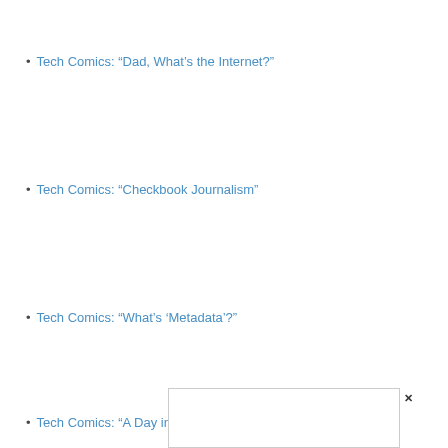Tech Comics: “Dad, What’s the Internet?”
Tech Comics: “Checkbook Journalism”
Tech Comics: “What’s ‘Metadata’?”
Tech Comics: “A Day in the Life of a Coder”